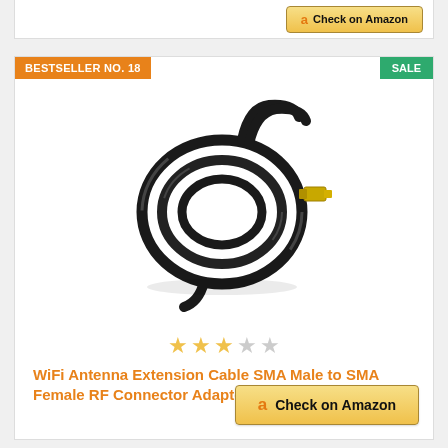[Figure (screenshot): Partial top card showing a Check on Amazon button]
BESTSELLER NO. 18
SALE
[Figure (photo): WiFi antenna extension cable coiled, SMA male to SMA female, black coaxial cable with gold connectors]
3 out of 5 stars rating
WiFi Antenna Extension Cable SMA Male to SMA Female RF Connector Adapter RG174 (5 m)
Check on Amazon